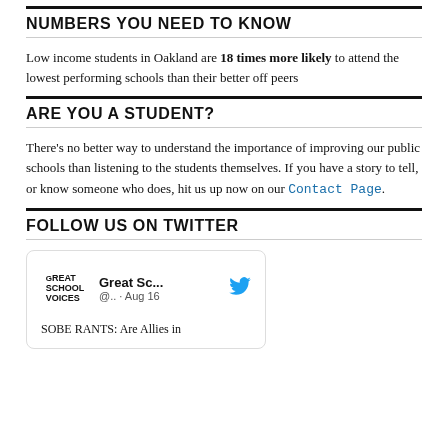NUMBERS YOU NEED TO KNOW
Low income students in Oakland are 18 times more likely to attend the lowest performing schools than their better off peers
ARE YOU A STUDENT?
There's no better way to understand the importance of improving our public schools than listening to the students themselves. If you have a story to tell, or know someone who does, hit us up now on our Contact Page.
FOLLOW US ON TWITTER
[Figure (screenshot): Twitter card for Great School Voices account showing @... · Aug 16 and tweet text: SOBE RANTS: Are Allies in]